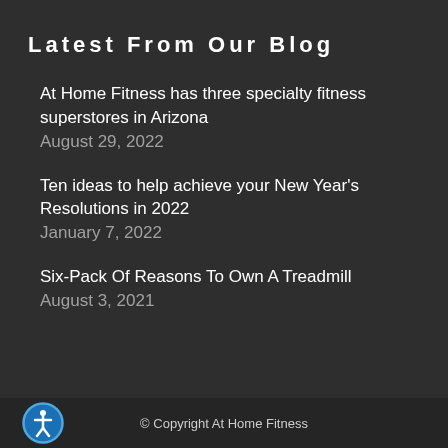Latest From Our Blog
At Home Fitness has three specialty fitness superstores in Arizona
August 29, 2022
Ten ideas to help achieve your New Year's Resolutions in 2022
January 7, 2022
Six-Pack Of Reasons To Own A Treadmill
August 3, 2021
© Copyright At Home Fitness